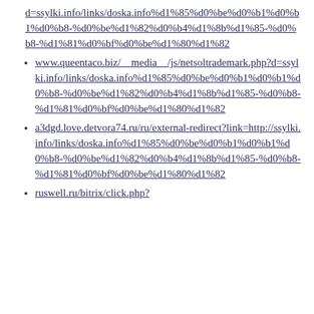d=ssylki.info/links/doska.info%d1%85%d0%be%d0%b1%d0%b1%d0%b8-%d0%be%d1%82%d0%b4%d1%8b%d1%85-%d0%b8-%d1%81%d0%bf%d0%be%d1%80%d1%82
www.queentaco.biz/__media__/js/netsoltrademark.php?d=ssylki.info/links/doska.info%d1%85%d0%be%d0%b1%d0%b1%d0%b8-%d0%be%d1%82%d0%b4%d1%8b%d1%85-%d0%b8-%d1%81%d0%bf%d0%be%d1%80%d1%82
a3dgd.love.detvora74.ru/ru/external-redirect?link=http://ssylki.info/links/doska.info%d1%85%d0%be%d0%b1%d0%b1%d0%b8-%d0%be%d1%82%d0%b4%d1%8b%d1%85-%d0%b8-%d1%81%d0%bf%d0%be%d1%80%d1%82
ruswell.ru/bitrix/click.php?